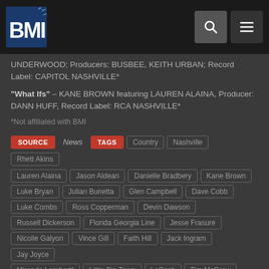BMI
UNDERWOOD; Producers: BUSBEE, KEITH URBAN; Record Label: CAPITOL NASHVILLE*
"What Ifs" – KANE BROWN featuring LAUREN ALAINA, Producer: DANN HUFF, Record Label: RCA NASHVILLE*
*Not affiliated with BMI
SOURCE | News | TAGS | Country | Nashville | Rhett Akins | Lauren Alaina | Jason Aldean | Danielle Bradbery | Kane Brown | Luke Bryan | Julian Bunetta | Glen Campbell | Dave Cobb | Luke Combs | Ross Copperman | Devin Dawson | Russell Dickerson | Florida Georgia Line | Jesse Frasure | Nicolle Galyon | Vince Gill | Faith Hill | Jack Ingram | Jay Joyce | Miranda Lambert | Little Big Town | LoCash | Tim McGraw